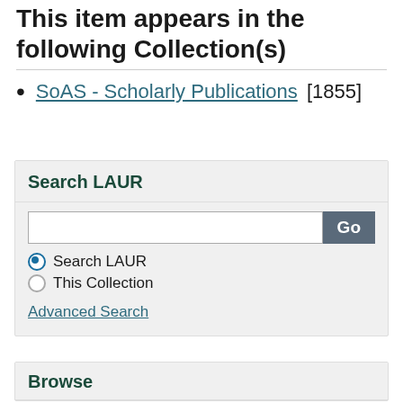This item appears in the following Collection(s)
SoAS - Scholarly Publications [1855]
Search LAUR
Search LAUR (radio selected), This Collection (radio), Advanced Search
Browse